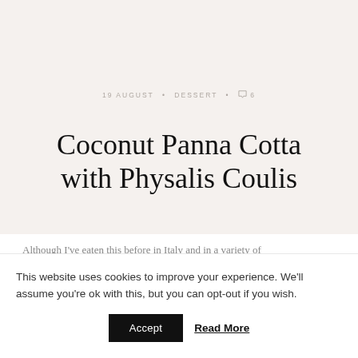19 AUGUST · DESSERT · 6
Coconut Panna Cotta with Physalis Coulis
Although I've eaten this before in Italy and in a variety of
This website uses cookies to improve your experience. We'll assume you're ok with this, but you can opt-out if you wish.